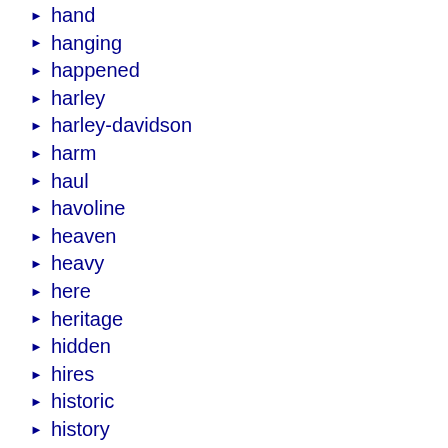hand
hanging
happened
harley
harley-davidson
harm
haul
havoline
heaven
heavy
here
heritage
hidden
hires
historic
history
hockings
home
honda
honest
hooters
hoppers
horizontal